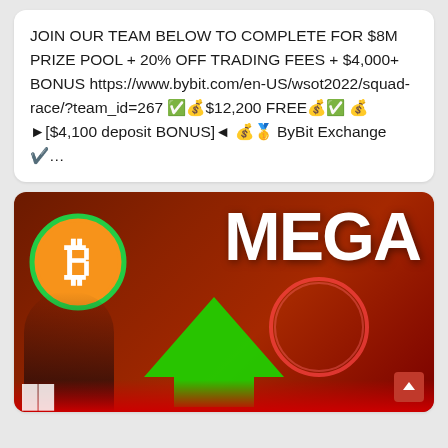JOIN OUR TEAM BELOW TO COMPLETE FOR $8M PRIZE POOL + 20% OFF TRADING FEES + $4,000+ BONUS https://www.bybit.com/en-US/wsot2022/squad-race/?team_id=267 ✅💰$12,200 FREE💰✅ 💰 ►[$4,100 deposit BONUS]◄ 💰🥇 ByBit Exchange ✔️...
[Figure (photo): Thumbnail image with large white bold text 'MEGA' on red background, Bitcoin logo circle on left, green arrow pointing up-right, person in red hood at bottom left]